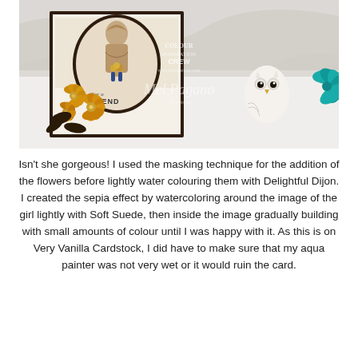[Figure (photo): A handmade greeting card featuring a girl stamped image in sepia tones on a cream oval, yellow daisy flowers with pearl centers, dark brown leaves, text reading 'For a FRIEND', displayed on a white surface with a white owl figurine and teal paper flower decoration in the background. Watermark overlay reads 'Mel Pagano' with 'COLOUR INSPIRATION CREW' and 'www.mypaperbase.com' and '© Stampin Up!']
Isn't she gorgeous!  I used the masking technique for the addition of the flowers before lightly water colouring them with Delightful Dijon. I created the sepia effect by watercoloring around the image of the girl lightly with Soft Suede, then inside the image gradually building with small amounts of colour until I was happy with it.  As this is on Very Vanilla Cardstock, I did have to make sure that my aqua painter was not very wet or it would ruin the card.